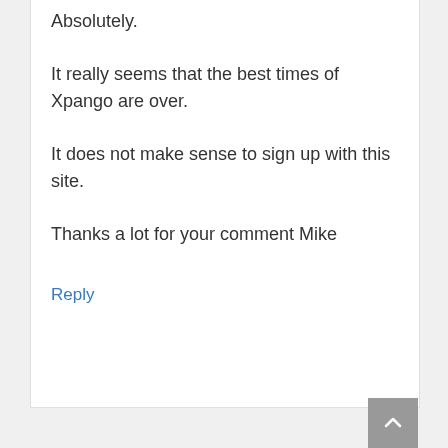Absolutely.
It really seems that the best times of Xpango are over.
It does not make sense to sign up with this site.
Thanks a lot for your comment Mike
Reply